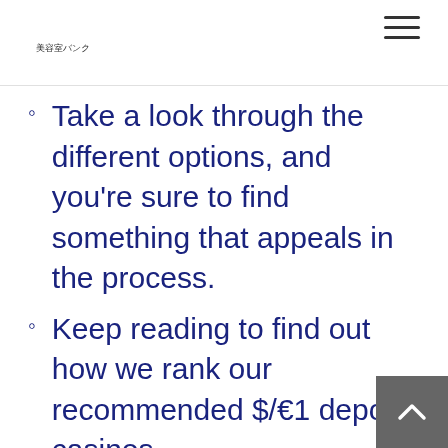美容室バンク
Take a look through the different options, and you're sure to find something that appeals in the process.
Keep reading to find out how we rank our recommended $/€1 deposit casinos.
The wheel of fortune and re-spins are interesting options too. They allow new customers to learn more about their functions, conditions and possibilities of the presented gambling games. Thus t…